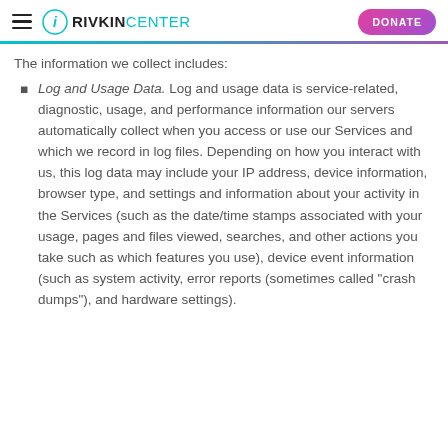RIVKIN CENTER | DONATE
The information we collect includes:
Log and Usage Data. Log and usage data is service-related, diagnostic, usage, and performance information our servers automatically collect when you access or use our Services and which we record in log files. Depending on how you interact with us, this log data may include your IP address, device information, browser type, and settings and information about your activity in the Services (such as the date/time stamps associated with your usage, pages and files viewed, searches, and other actions you take such as which features you use), device event information (such as system activity, error reports (sometimes called "crash dumps"), and hardware settings).